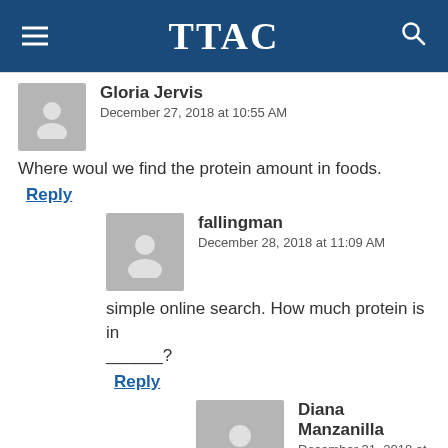TTAC
Gloria Jervis
December 27, 2018 at 10:55 AM
Where woul we find the protein amount in foods.
Reply
fallingman
December 28, 2018 at 11:09 AM
simple online search. How much protein is in ______?
Reply
Diana Manzanilla
December 31, 2018 at 12:58 PM
Try the cronometer app. It was developed...